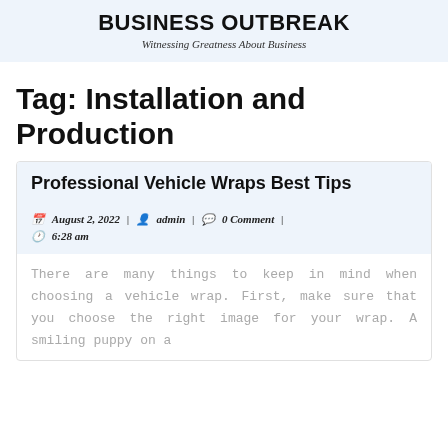BUSINESS OUTBREAK
Witnessing Greatness About Business
Tag: Installation and Production
Professional Vehicle Wraps Best Tips
August 2, 2022 | admin | 0 Comment | 6:28 am
There are many things to keep in mind when choosing a vehicle wrap. First, make sure that you choose the right image for your wrap. A smiling puppy on a